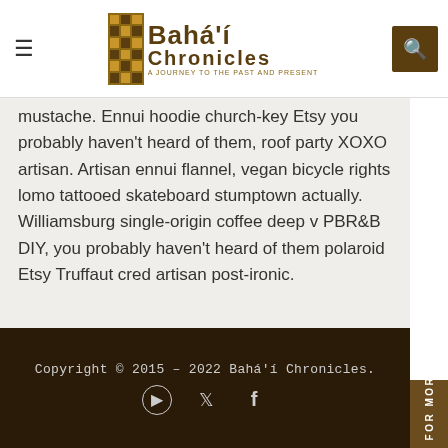Bahá'í Chronicles — A Journey to the Past and Present
mustache. Ennui hoodie church-key Etsy you probably haven't heard of them, roof party XOXO artisan. Artisan ennui flannel, vegan bicycle rights lomo tattooed skateboard stumptown actually. Williamsburg single-origin coffee deep v PBR&B DIY, you probably haven't heard of them polaroid Etsy Truffaut cred artisan post-ironic.
[Figure (infographic): Social media share buttons: Facebook (blue), Twitter (light blue), Pinterest (red), LinkedIn (blue)]
YOU MAY ALSO LIKE
Copyright © 2015 – 2022 Bahá'í Chronicles.